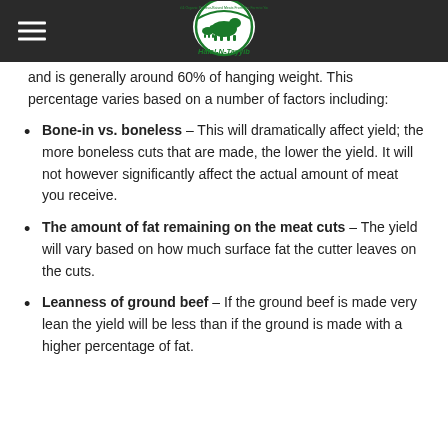[Figure (logo): Halal-N-Tayyib logo: circular green logo with a cow and lamb, text reading 'Halal-N-Tayyib' on a dark navigation bar with hamburger menu icon]
and is generally around 60% of hanging weight. This percentage varies based on a number of factors including:
Bone-in vs. boneless – This will dramatically affect yield; the more boneless cuts that are made, the lower the yield. It will not however significantly affect the actual amount of meat you receive.
The amount of fat remaining on the meat cuts – The yield will vary based on how much surface fat the cutter leaves on the cuts.
Leanness of ground beef – If the ground beef is made very lean the yield will be less than if the ground is made with a higher percentage of fat.